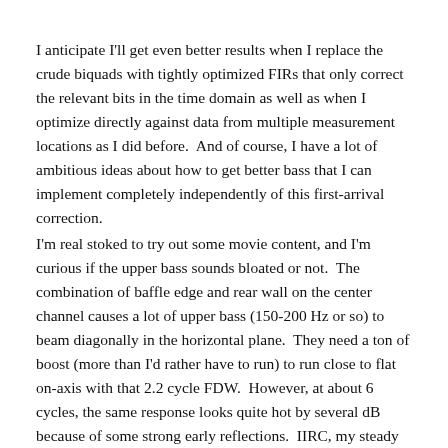I anticipate I'll get even better results when I replace the crude biquads with tightly optimized FIRs that only correct the relevant bits in the time domain as well as when I optimize directly against data from multiple measurement locations as I did before.  And of course, I have a lot of ambitious ideas about how to get better bass that I can implement completely independently of this first-arrival correction.
I'm real stoked to try out some movie content, and I'm curious if the upper bass sounds bloated or not.  The combination of baffle edge and rear wall on the center channel causes a lot of upper bass (150-200 Hz or so) to beam diagonally in the horizontal plane.  They need a ton of boost (more than I'd rather have to run) to run close to flat on-axis with that 2.2 cycle FDW.  However, at about 6 cycles, the same response looks quite hot by several dB because of some strong early reflections.  IIRC, my steady response hits 90 dBC up there.  So this *should* give me some idea of whether 2.2 cycles or 6 cycles is better in that